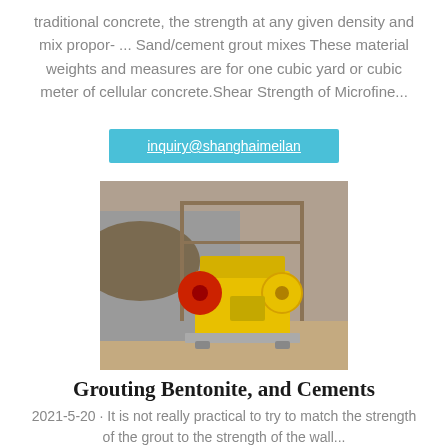traditional concrete, the strength at any given density and mix propor- ... Sand/cement grout mixes These material weights and measures are for one cubic yard or cubic meter of cellular concrete.Shear Strength of Microfine...
inquiry@shanghaimeilan
[Figure (photo): Yellow industrial jaw crusher machine on a concrete pad, outdoors with a steel canopy frame, aggregates pile and concrete wall in background.]
Grouting Bentonite, and Cements
2021-5-20 · It is not really practical to try to match the strength of the grout to the strength of the wall... there are ...